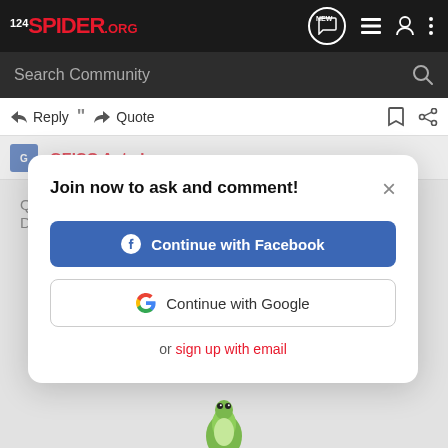124SPIDER.ORG - navigation bar with NEW, list, user, and menu icons
Search Community
Reply   Quote
GEICO Auto Insurance
Join now to ask and comment!
Continue with Facebook
Continue with Google
or sign up with email